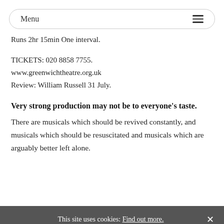Menu
Runs 2hr 15min One interval.
TICKETS: 020 8858 7755.
www.greenwichtheatre.org.uk
Review: William Russell 31 July.
Very strong production may not be to everyone's taste.
There are musicals which should be revived constantly, and musicals which should be resuscitated and musicals which are arguably better left alone.
This site uses cookies: Find out more.